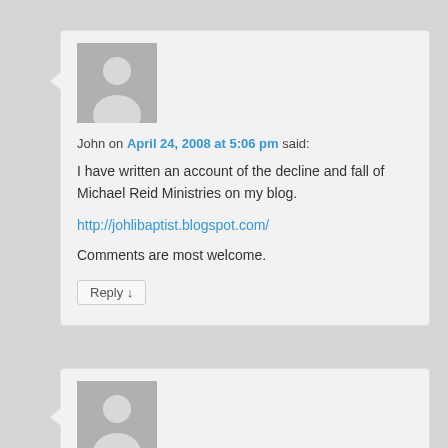John on April 24, 2008 at 5:06 pm said:
I have written an account of the decline and fall of Michael Reid Ministries on my blog.
http://johlibaptist.blogspot.com/
Comments are most welcome.
Reply ↓